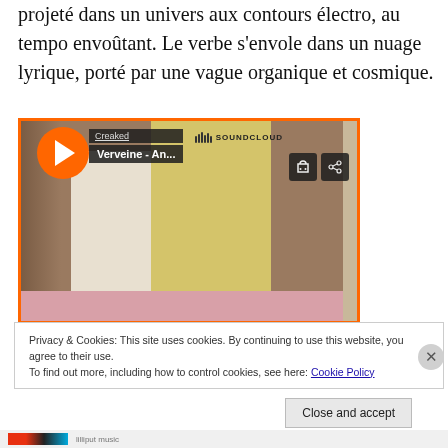projeté dans un univers aux contours électro, au tempo envoûtant. Le verbe s'envole dans un nuage lyrique, porté par une vague organique et cosmique.
[Figure (screenshot): SoundCloud embedded player widget showing a track by 'Creaked' titled 'Verveine - An...' with a play button, cart and share icons. Background shows a photo of cream/gold colored panels against a wooden surface.]
Privacy & Cookies: This site uses cookies. By continuing to use this website, you agree to their use.
To find out more, including how to control cookies, see here: Cookie Policy
Close and accept